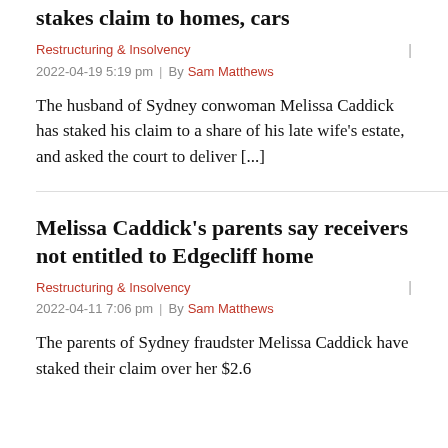stakes claim to homes, cars
Restructuring & Insolvency
2022-04-19 5:19 pm  |  By  Sam Matthews
The husband of Sydney conwoman Melissa Caddick has staked his claim to a share of his late wife’s estate, and asked the court to deliver [...]
Melissa Caddick’s parents say receivers not entitled to Edgecliff home
Restructuring & Insolvency
2022-04-11 7:06 pm  |  By  Sam Matthews
The parents of Sydney fraudster Melissa Caddick have staked their claim over her $2.6